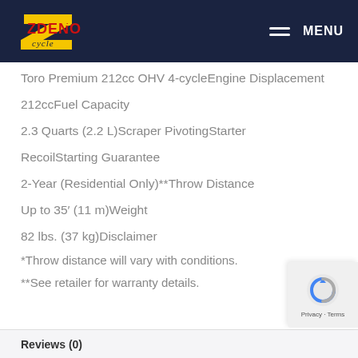Zdeno Cycle — MENU
Toro Premium 212cc OHV 4-cycleEngine Displacement
212ccFuel Capacity
2.3 Quarts (2.2 L)Scraper PivotingStarter
RecoilStarting Guarantee
2-Year (Residential Only)**Throw Distance
Up to 35′ (11 m)Weight
82 lbs. (37 kg)Disclaimer
*Throw distance will vary with conditions.
**See retailer for warranty details.
Reviews (0)